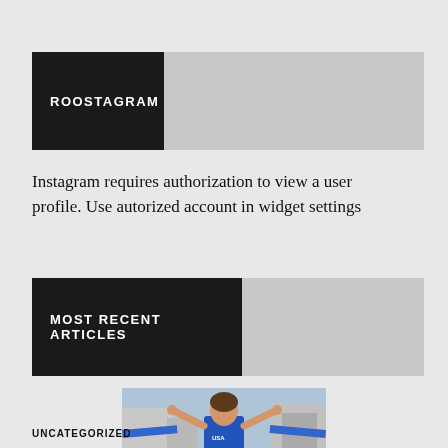ROOSTAGRAM
Instagram requires authorization to view a user profile. Use autorized account in widget settings
MOST RECENT ARTICLES
[Figure (photo): Female triathlete celebrating a race finish, wearing blue USA uniform, holding up a finishing tape, crowd in background]
UNCATEGORIZED
10 minutes with Gwen Jorgensen